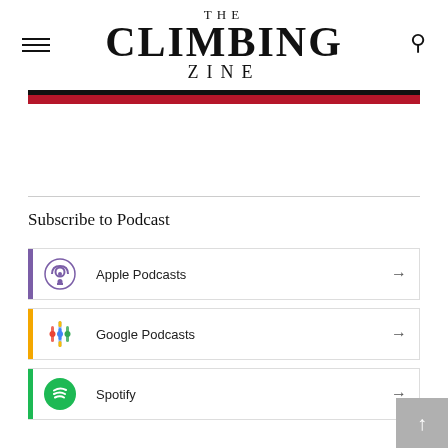THE CLIMBING ZINE
Subscribe to Podcast
Apple Podcasts
Google Podcasts
Spotify